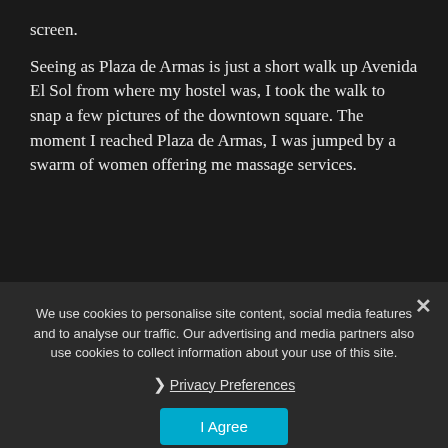screen.
Seeing as Plaza de Armas is just a short walk up Avenida El Sol from where my hostel was, I took the walk to snap a few pictures of the downtown square. The moment I reached Plaza de Armas, I was jumped by a swarm of women offering me massage services.
I was quoted prices around 30 Soles per hour, which albeit, for the average price for a good food no so... massage in Asia.
We use cookies to personalise site content, social media features and to analyse our traffic. Our advertising and media partners also use cookies to collect information about your use of this site.
Privacy Preferences
I Agree